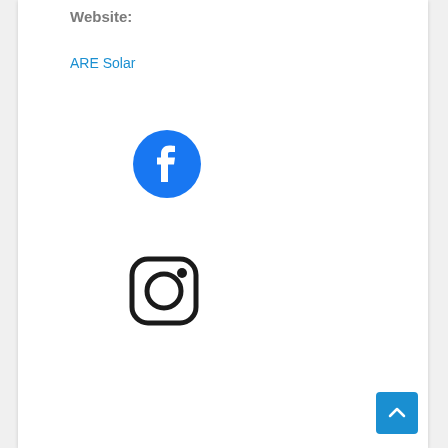Website:
ARE Solar
[Figure (logo): Facebook logo — blue circle with white 'f' icon]
[Figure (logo): Instagram logo — rounded square outline with circle and dot]
[Figure (other): Back to top button — blue square with white upward chevron arrow]